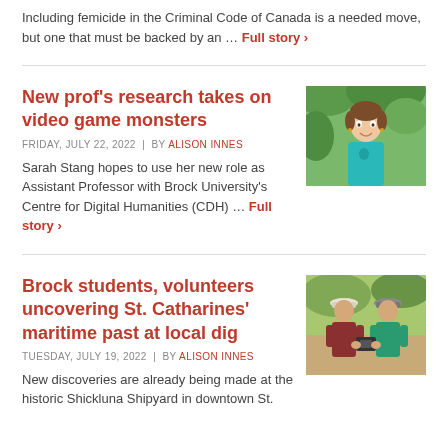Including femicide in the Criminal Code of Canada is a needed move, but one that must be backed by an … Full story ›
New prof's research takes on video game monsters
FRIDAY, JULY 22, 2022 | by Alison Innes
Sarah Stang hopes to use her new role as Assistant Professor with Brock University's Centre for Digital Humanities (CDH) … Full story ›
[Figure (photo): Smiling woman with brown hair wearing a teal sleeveless top, outdoors with green foliage background]
Brock students, volunteers uncovering St. Catharines' maritime past at local dig
TUESDAY, JULY 19, 2022 | by Alison Innes
New discoveries are already being made at the historic Shickluna Shipyard in downtown St.
[Figure (photo): Two people wearing caps examining an object at an outdoor archaeological dig site]